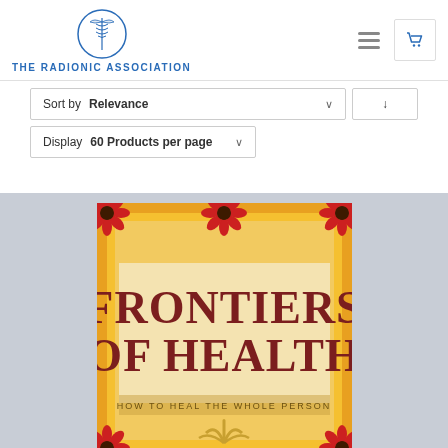[Figure (logo): The Radionic Association logo: caduceus symbol inside a circle with text below]
THE RADIONIC ASSOCIATION
Sort by Relevance
Display 60 Products per page
[Figure (photo): Book cover for 'Frontiers of Health: How to Heal the Whole Person' with red flowers at corners on a golden background]